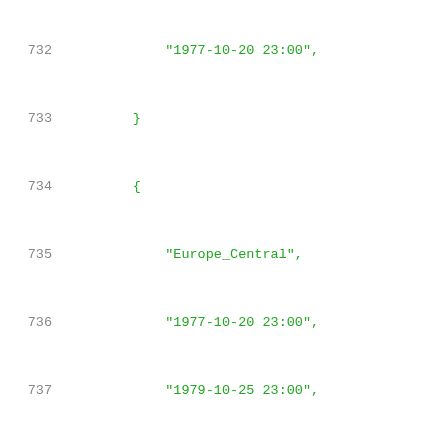732-753: Code listing showing timezone data entries with Europe_Central, Europe_Western, and Africa_Eastern entries including date ranges